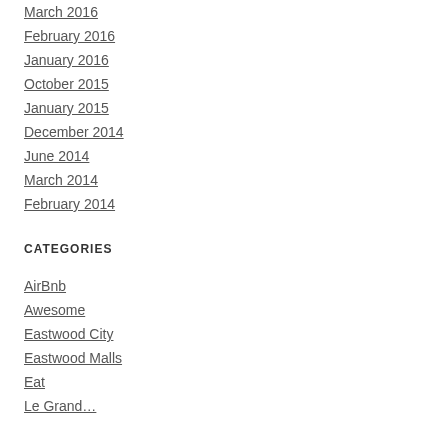March 2016
February 2016
January 2016
October 2015
January 2015
December 2014
June 2014
March 2014
February 2014
CATEGORIES
AirBnb
Awesome
Eastwood City
Eastwood Malls
Eat
Le Grand…